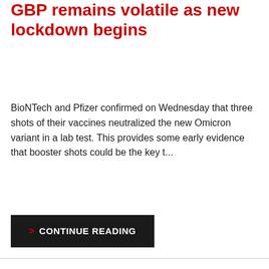GBP remains volatile as new lockdown begins
BioNTech and Pfizer confirmed on Wednesday that three shots of their vaccines neutralized the new Omicron variant in a lab test. This provides some early evidence that booster shots could be the key t...
> CONTINUE READING
[Figure (photo): Close-up photo of various currency banknotes including what appear to be Australian dollars and other colorful bills with intricate patterns and designs]